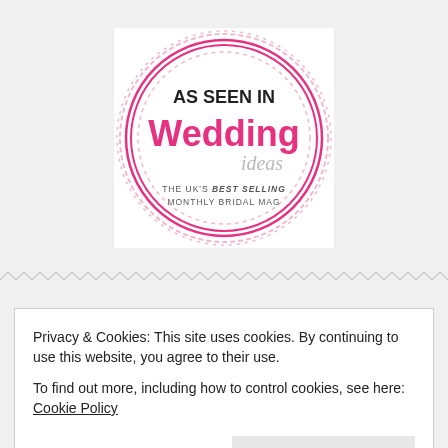[Figure (logo): Circular badge reading 'AS SEEN IN Wedding ideas THE UK'S BEST SELLING MONTHLY BRIDAL MAG' with pink dashed border ring]
I'M ON YOUTUBE!
Privacy & Cookies: This site uses cookies. By continuing to use this website, you agree to their use.
To find out more, including how to control cookies, see here: Cookie Policy
Close and accept